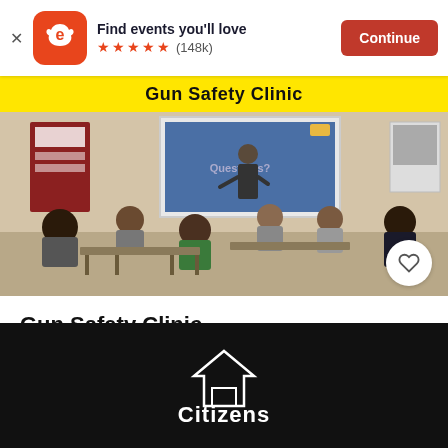[Figure (screenshot): Eventbrite app banner with logo, 'Find events you'll love' text, 5 star rating (148k), and Continue button]
[Figure (photo): Gun Safety Clinic event image: yellow banner with 'Gun Safety Clinic' text, classroom photo showing instructor presenting to seated audience]
Gun Safety Clinic
Wed, Aug 31, 6:00 PM
Citizens Safety Academy • Murfreesboro, TN
$50
[Figure (logo): Citizens logo in white text on black background]